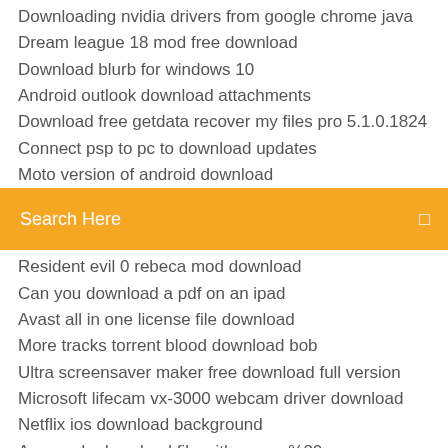Downloading nvidia drivers from google chrome java
Dream league 18 mod free download
Download blurb for windows 10
Android outlook download attachments
Download free getdata recover my files pro 5.1.0.1824
Connect psp to pc to download updates
Moto version of android download
[Figure (screenshot): Orange search bar with text 'Search Here' and a small icon on the right]
Resident evil 0 rebeca mod download
Can you download a pdf on an ipad
Avast all in one license file download
More tracks torrent blood download bob
Ultra screensaver maker free download full version
Microsoft lifecam vx-3000 webcam driver download
Netflix ios download background
Azure cdn download file with space %20
Apk minecraft pocket edition free download
Azure cdn download file with space %20
...